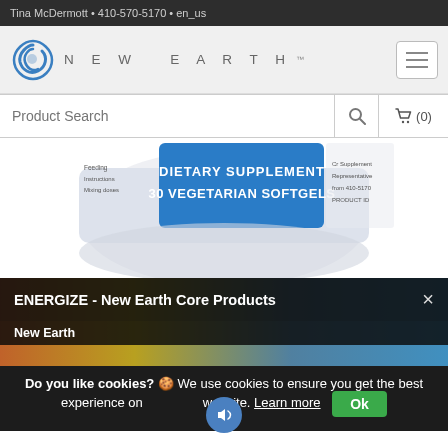Tina McDermott • 410-570-5170 • en_us
[Figure (logo): New Earth logo with spiral icon and spaced uppercase brand name text]
[Figure (photo): Bottom portion of a white supplement bottle label showing blue band with text DIETARY SUPPLEMENT 30 VEGETARIAN SOFTGELS]
[Figure (screenshot): Video overlay panel with warm-to-cool gradient background showing title ENERGIZE - New Earth Core Products and channel label New Earth]
Do you like cookies? 🍪 We use cookies to ensure you get the best experience on our website. Learn more Ok